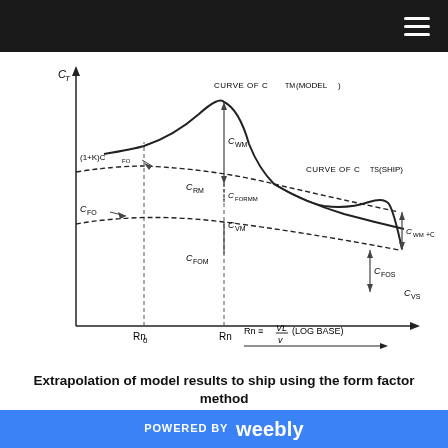[Figure (engineering-diagram): Graph showing extrapolation of model results to ship using the form factor method. Y-axis is C_T, X-axis is Rn (Reynolds number, log base), with curves for C_TM (model) and C_TS (ship), and labels for C_FO, (1+K)C_FO, C_WM, C_RM, C_FORMM, C_VM, C_FOM, C_WM+C_WS, C_CVS, C_FOS, Rn_0, Rn, and Rn formula VL/v.]
Extrapolation of model results to ship using the form factor method
The three dimensional method gives substantially lower ship predictions and so calls for larger values of the correlation allowance This procedure avoids the negative allowances sometimes found when using the